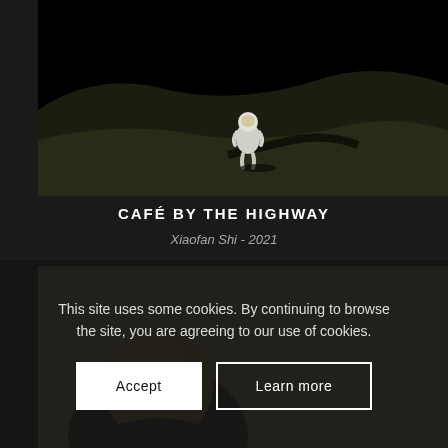[Figure (photo): Dark cinematic image of an astronaut in a white spacesuit standing on a barren moon-like landscape with dark rolling hills and black sky]
CAFÉ BY THE HIGHWAY
Xiaofan Shi - 2021
[Figure (photo): Person with short blonde hair seen from behind against a warm sandy/beige blurred background]
This site uses some cookies. By continuing to browse the site, you are agreeing to our use of cookies.